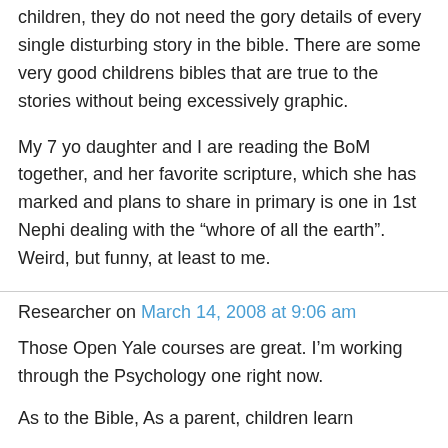children, they do not need the gory details of every single disturbing story in the bible. There are some very good childrens bibles that are true to the stories without being excessively graphic.
My 7 yo daughter and I are reading the BoM together, and her favorite scripture, which she has marked and plans to share in primary is one in 1st Nephi dealing with the “whore of all the earth”. Weird, but funny, at least to me.
Researcher on March 14, 2008 at 9:06 am
Those Open Yale courses are great. I’m working through the Psychology one right now.
As to the Bible, As a parent, children learn